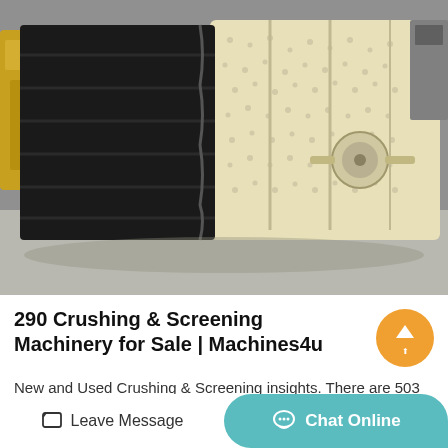[Figure (photo): Industrial vibrating screen / crushing and screening machinery in a warehouse setting. The machine is large with a black corrugated chute on the left side and a cream/beige perforated screening body on the right, with a motor attached. Yellow equipment visible in the background left.]
290 Crushing & Screening Machinery for Sale | Machines4u
New and Used Crushing & Screening insights. There are 503
Crushing & Screening for sale in Australia from which to choose.
Overall 56% of Crushing & S...